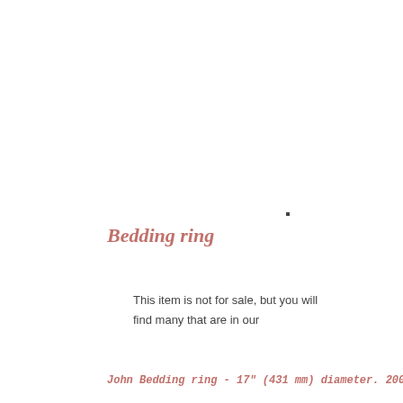Bedding ring
This item is not for sale, but you will find many that are in our
John Bedding ring - 17" (431 mm) diameter. 2004.